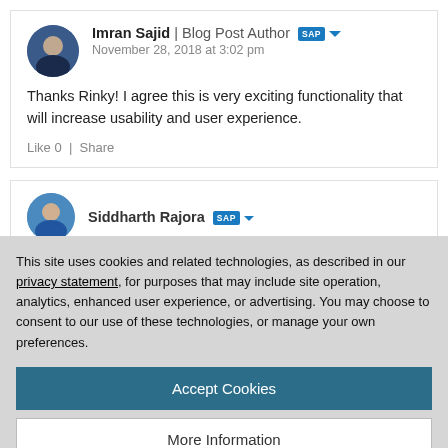Imran Sajid | Blog Post Author [SAP]
November 28, 2018 at 3:02 pm
Thanks Rinky! I agree this is very exciting functionality that will increase usability and user experience.
Like 0  |  Share
Siddharth Rajora [SAP]
This site uses cookies and related technologies, as described in our privacy statement, for purposes that may include site operation, analytics, enhanced user experience, or advertising. You may choose to consent to our use of these technologies, or manage your own preferences.
Accept Cookies
More Information
Privacy Policy | Powered by: TrustArc
Like 0  |  Share